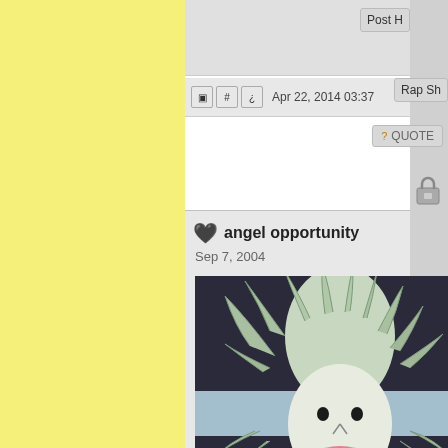[Figure (screenshot): Yellow sidebar panel on the left side of a forum page]
Post H
Apr 22, 2014 03:37
Rap Sh
QUOTE
[Figure (illustration): Lock icon]
angel opportunity
Sep 7, 2004
[Figure (illustration): Drawing of Medusa-like figure with snake hair, white face, pink lips, on dark background with light blue horizontal band]
Total Eclipse of the Heart